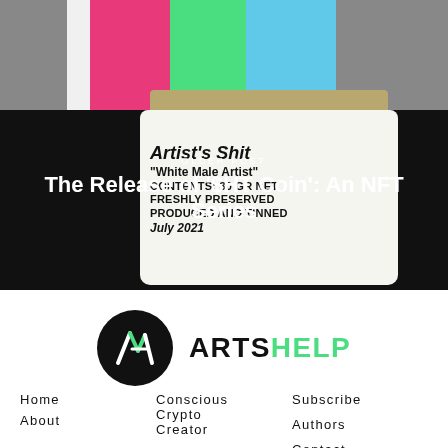[Figure (photo): Top section showing a colorful figure in pink and teal clothing against a stone wall background, with a tin can labeled Artist's Shit White Male Artist, Contents 30 GR NET, Freshly Preserved, Produced and Tinned, July 2021, overlaid with dark background]
OLDER POST
The Release of '$HT Coin': An NFT Series
[Figure (logo): ArtsHelp logo: black circle with stylized AH icon in white and green, next to ARTSHELP wordmark in black and green]
Home
About
Conscious Crypto Creator
NFT Store
Subscribe
Authors
Contact
Tags